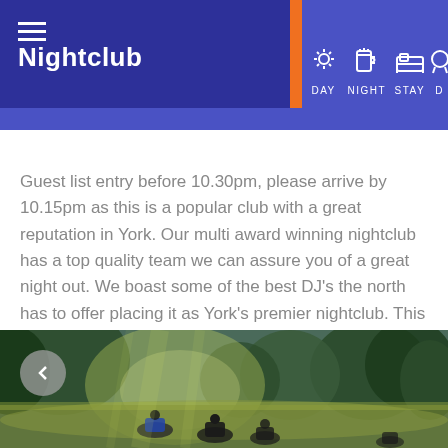Nightclub — DAY  NIGHT  STAY  D...
Guest list entry before 10.30pm, please arrive by 10.15pm as this is a popular club with a great reputation in York. Our multi award winning nightclub has a top quality team we can assure you of a great night out. We boast some of the best DJ's the north has to offer placing it as York's premier nightclub. This sizeable nightclub also has a bar/lounge and first-floor balcony, plus visiting DJs and party nights.
[Figure (photo): Outdoor forest/meadow scene with people riding ATVs/quad bikes through tall grass with trees in the background, lit by bright sunlight.]